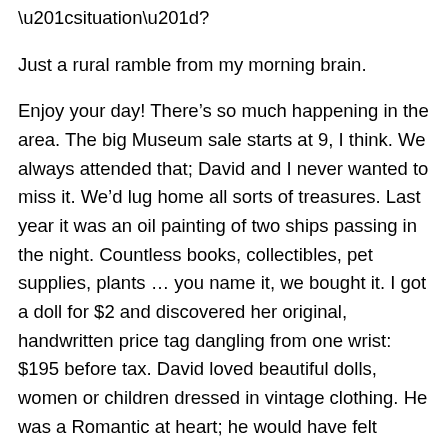“situation”?
Just a rural ramble from my morning brain.
Enjoy your day! There’s so much happening in the area. The big Museum sale starts at 9, I think. We always attended that; David and I never wanted to miss it. We’d lug home all sorts of treasures. Last year it was an oil painting of two ships passing in the night. Countless books, collectibles, pet supplies, plants … you name it, we bought it. I got a doll for $2 and discovered her original, handwritten price tag dangling from one wrist: $195 before tax. David loved beautiful dolls, women or children dressed in vintage clothing. He was a Romantic at heart; he would have felt comfortable in the days of Keats and Wordsworth. Or even Queen Victoria – which was later but nonetheless, a fashionable era. He never failed to notice